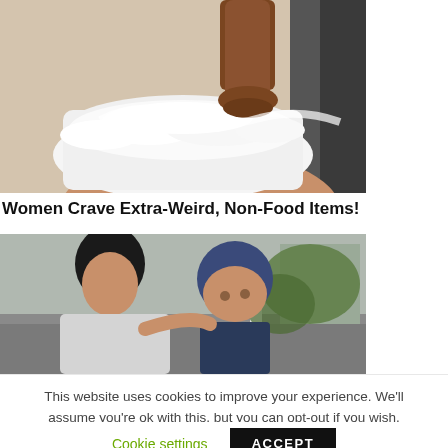[Figure (photo): Close-up photo of chocolate being poured into a white bowl filled with whipped cream, held by a hand]
Women Crave Extra-Weird, Non-Food Items!
[Figure (photo): Woman holding a baby with a dark blue hat outdoors]
This website uses cookies to improve your experience. We'll assume you're ok with this, but you can opt-out if you wish.
Cookie settings   ACCEPT